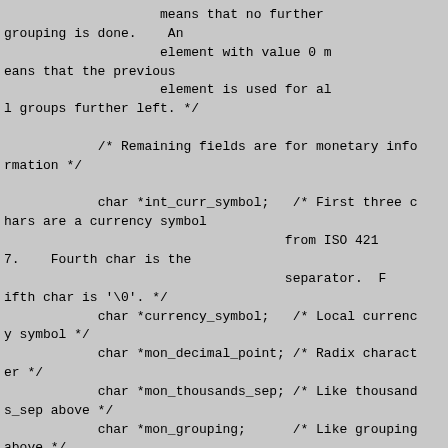means that no further grouping is done.    An element with value 0 means that the previous element is used for all groups further left. */

            /* Remaining fields are for monetary information */

            char *int_curr_symbol;   /* First three chars are a currency symbol from ISO 4217.    Fourth char is the separator.  Fifth char is '\0'. */
            char *currency_symbol;   /* Local currency symbol */
            char *mon_decimal_point; /* Radix character */
            char *mon_thousands_sep; /* Like thousands_sep above */
            char *mon_grouping;      /* Like grouping above */